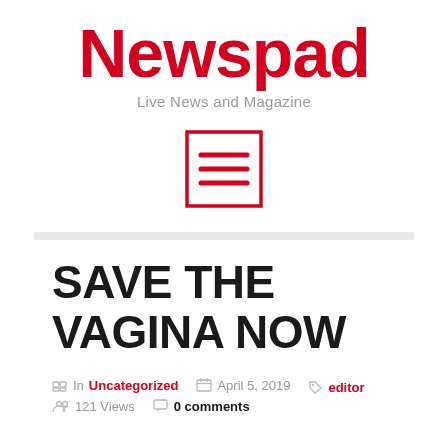Newspad
Live News and Magazine
[Figure (illustration): Hamburger menu icon: a red-bordered rectangle containing three horizontal red lines]
SAVE THE VAGINA NOW
In Uncategorized   April 5, 2019   editor   121 Views   0 comments